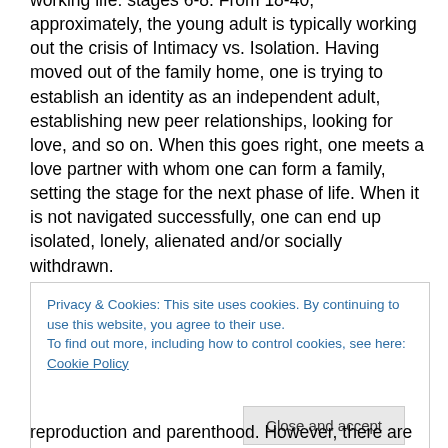working life: stages 6-8. From 18-40, approximately, the young adult is typically working out the crisis of Intimacy vs. Isolation. Having moved out of the family home, one is trying to establish an identity as an independent adult, establishing new peer relationships, looking for love, and so on. When this goes right, one meets a love partner with whom one can form a family, setting the stage for the next phase of life. When it is not navigated successfully, one can end up isolated, lonely, alienated and/or socially withdrawn.
Privacy & Cookies: This site uses cookies. By continuing to use this website, you agree to their use. To find out more, including how to control cookies, see here: Cookie Policy
reproduction and parenthood. However, there are other